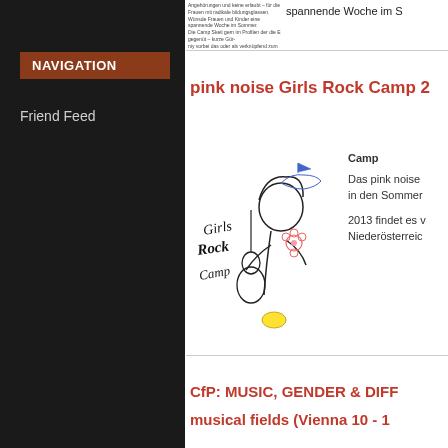NAVIGATION
Friend Feed
spannende Woche im S
pink noise Girls Rock Camp 2
[Figure (illustration): Girls Rock Camp logo illustration showing a girl playing guitar with hand-lettered text 'Girls Rock Camp']
Camp
Das pink noise in den Sommer

2013 findet es v Niederösterreic
CfP: MUSIC, GENDER & DIFF musical fields (Vienna 10 - 1